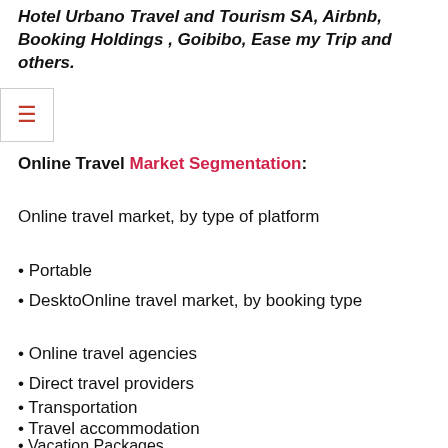Hotel Urbano Travel and Tourism SA, Airbnb, Booking Holdings , Goibibo, Ease my Trip and others.
Online Travel Market Segmentation:
Online travel market, by type of platform
• Portable
• DesktoOnline travel market, by booking type
• Online travel agencies
• Direct travel providers
• Transportation
• Travel accommodation
• Vacation Packages